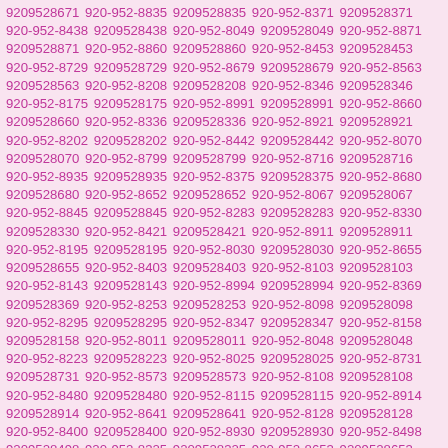9209528671 920-952-8835 9209528835 920-952-8371 9209528371 920-952-8438 9209528438 920-952-8049 9209528049 920-952-8871 9209528871 920-952-8860 9209528860 920-952-8453 9209528453 920-952-8729 9209528729 920-952-8679 9209528679 920-952-8563 9209528563 920-952-8208 9209528208 920-952-8346 9209528346 920-952-8175 9209528175 920-952-8991 9209528991 920-952-8660 9209528660 920-952-8336 9209528336 920-952-8921 9209528921 920-952-8202 9209528202 920-952-8442 9209528442 920-952-8070 9209528070 920-952-8799 9209528799 920-952-8716 9209528716 920-952-8935 9209528935 920-952-8375 9209528375 920-952-8680 9209528680 920-952-8652 9209528652 920-952-8067 9209528067 920-952-8845 9209528845 920-952-8283 9209528283 920-952-8330 9209528330 920-952-8421 9209528421 920-952-8911 9209528911 920-952-8195 9209528195 920-952-8030 9209528030 920-952-8655 9209528655 920-952-8403 9209528403 920-952-8103 9209528103 920-952-8143 9209528143 920-952-8994 9209528994 920-952-8369 9209528369 920-952-8253 9209528253 920-952-8098 9209528098 920-952-8295 9209528295 920-952-8347 9209528347 920-952-8158 9209528158 920-952-8011 9209528011 920-952-8048 9209528048 920-952-8223 9209528223 920-952-8025 9209528025 920-952-8731 9209528731 920-952-8573 9209528573 920-952-8108 9209528108 920-952-8480 9209528480 920-952-8115 9209528115 920-952-8914 9209528914 920-952-8641 9209528641 920-952-8128 9209528128 920-952-8400 9209528400 920-952-8930 9209528930 920-952-8498 9209528498 920-952-8325 9209528325 920-952-8653 9209528653 920-952-8745 9209528745 920-952-8953 9209528953 920-952-8297 9209528297 920-952-8685 9209528685 920-952-8546 9209528546